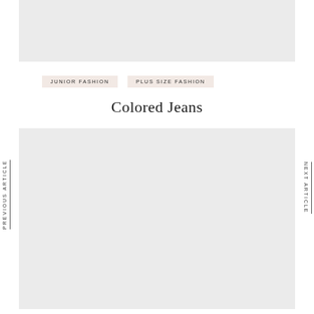[Figure (photo): Top gray image placeholder block]
JUNIOR FASHION
PLUS SIZE FASHION
Colored Jeans
PREVIOUS ARTICLE
NEXT ARTICLE
[Figure (photo): Large bottom gray image placeholder block]